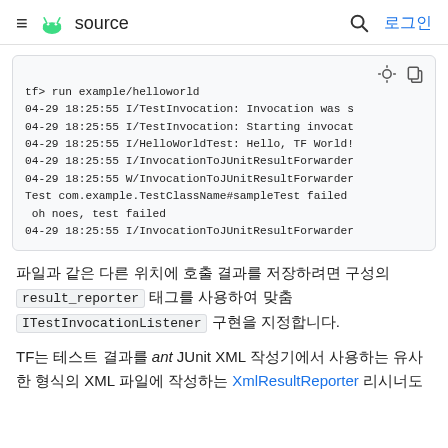≡ [Android] source  🔍 로그인
[Figure (screenshot): Code block showing terminal output: tf> run example/helloworld followed by log lines from TestInvocation, HelloWorldTest, InvocationToJUnitResultForwarder showing a test failure and result forwarding.]
파일과 같은 다른 위치에 호출 결과를 저장하려면 구성의 result_reporter 태그를 사용하여 맞춤 ITestInvocationListener 구현을 지정합니다.
TF는 테스트 결과를 ant JUnit XML 작성기에서 사용하는 유사한 형식의 XML 파일에 작성하는 XmlResultReporter 리시너도